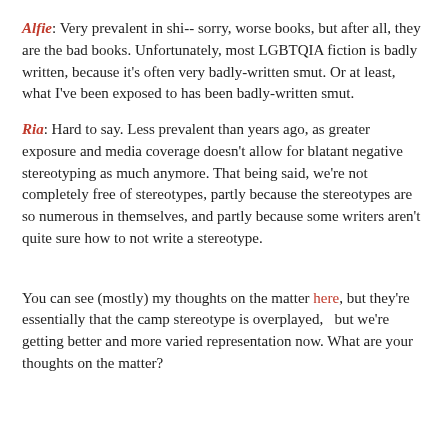Alfie: Very prevalent in shi-- sorry, worse books, but after all, they are the bad books. Unfortunately, most LGBTQIA fiction is badly written, because it's often very badly-written smut. Or at least, what I've been exposed to has been badly-written smut.
Ria: Hard to say. Less prevalent than years ago, as greater exposure and media coverage doesn't allow for blatant negative stereotyping as much anymore. That being said, we're not completely free of stereotypes, partly because the stereotypes are so numerous in themselves, and partly because some writers aren't quite sure how to not write a stereotype.
You can see (mostly) my thoughts on the matter here, but they're essentially that the camp stereotype is overplayed,   but we're getting better and more varied representation now. What are your thoughts on the matter?